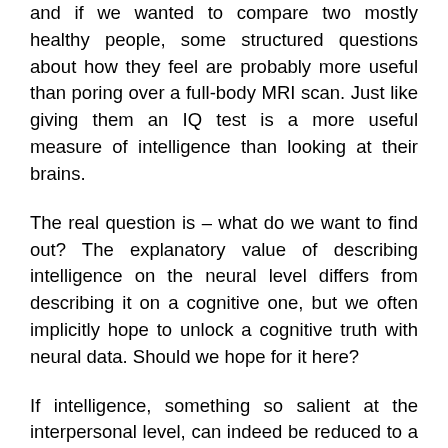and if we wanted to compare two mostly healthy people, some structured questions about how they feel are probably more useful than poring over a full-body MRI scan. Just like giving them an IQ test is a more useful measure of intelligence than looking at their brains.
The real question is – what do we want to find out? The explanatory value of describing intelligence on the neural level differs from describing it on a cognitive one, but we often implicitly hope to unlock a cognitive truth with neural data. Should we hope for it here?
If intelligence, something so salient at the interpersonal level, can indeed be reduced to a complex but dispersed measure of brain efficiency, that's a fascinating finding as far as I'm concerned. And finding any of these neural correlates is – of course – a big deal. They are likely to be more structured than the genetic correlates, because they